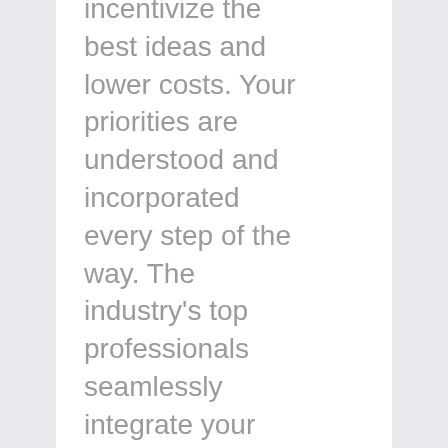incentivize the best ideas and lower costs. Your priorities are understood and incorporated every step of the way. The industry's top professionals seamlessly integrate your ideas into reality. We have consistently delivered a better project, under budget,